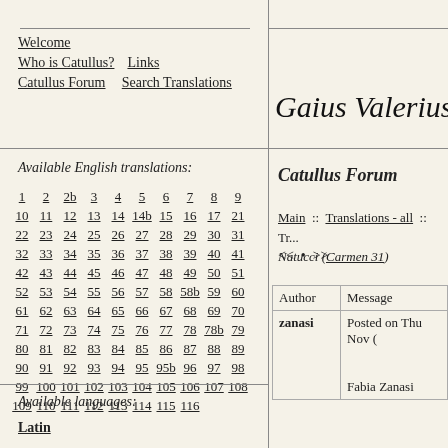Gaius Valerius
Welcome
Who is Catullus?  Links
Catullus Forum  Search Translations
Available English translations:
1 2 2b 3 4 5 6 7 8 9 10 11 12 13 14 14b 15 16 17 21 22 23 24 25 26 27 28 29 30 31 32 33 34 35 36 37 38 39 40 41 42 43 44 45 46 47 48 49 50 51 52 53 54 55 56 57 58 58b 59 60 61 62 63 64 65 66 67 68 69 70 71 72 73 74 75 76 77 78 78b 79 80 81 82 83 84 85 86 87 88 89 90 91 92 93 94 95 95b 96 97 98 99 100 101 102 103 104 105 106 107 108 109 110 111 112 113 114 115 116
Available languages:
Latin
Catullus Forum
Main :: Translations - all :: Tr... Natucci (Carmen 31)
<< • >>
| Author | Message |
| --- | --- |
| zanasi | Posted on Thu Nov 
Fabia Zanasi |